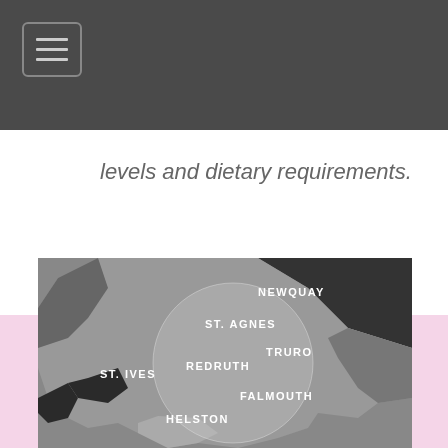levels and dietary requirements.
[Figure (map): A map of Cornwall, UK showing towns including Newquay, St. Agnes, Truro, Redruth, St. Ives, Falmouth, and Helston. The map uses grey tones with a circular highlighted region in the center. Town names are shown in white text.]